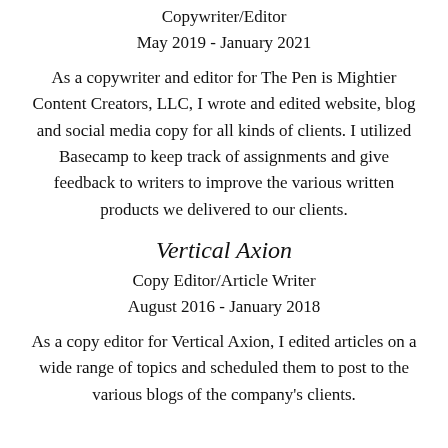Copywriter/Editor
May 2019 - January 2021
As a copywriter and editor for The Pen is Mightier Content Creators, LLC, I wrote and edited website, blog and social media copy for all kinds of clients. I utilized Basecamp to keep track of assignments and give feedback to writers to improve the various written products we delivered to our clients.
Vertical Axion
Copy Editor/Article Writer
August 2016 - January 2018
As a copy editor for Vertical Axion, I edited articles on a wide range of topics and scheduled them to post to the various blogs of the company's clients.